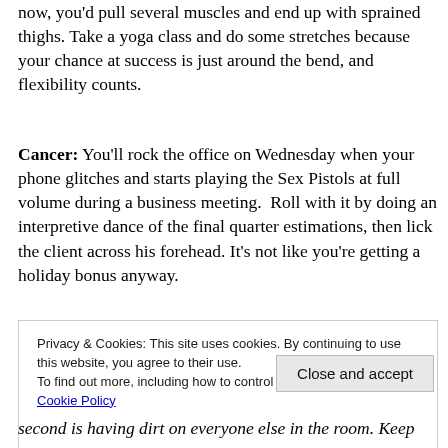now, you'd pull several muscles and end up with sprained thighs. Take a yoga class and do some stretches because your chance at success is just around the bend, and flexibility counts.
Cancer: You'll rock the office on Wednesday when your phone glitches and starts playing the Sex Pistols at full volume during a business meeting.  Roll with it by doing an interpretive dance of the final quarter estimations, then lick the client across his forehead. It's not like you're getting a holiday bonus anyway.
Privacy & Cookies: This site uses cookies. By continuing to use this website, you agree to their use.
To find out more, including how to control cookies, see here: Cookie Policy
Close and accept
second is having dirt on everyone else in the room. Keep